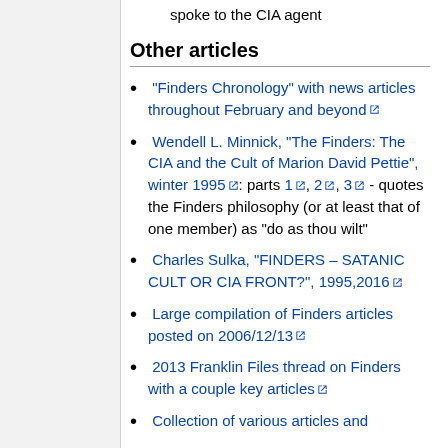spoke to the CIA agent
Other articles
"Finders Chronology" with news articles throughout February and beyond
Wendell L. Minnick, "The Finders: The CIA and the Cult of Marion David Pettie", winter 1995: parts 1, 2, 3 - quotes the Finders philosophy (or at least that of one member) as "do as thou wilt"
Charles Sulka, "FINDERS – SATANIC CULT OR CIA FRONT?", 1995,2016
Large compilation of Finders articles posted on 2006/12/13
2013 Franklin Files thread on Finders with a couple key articles
Collection of various articles and